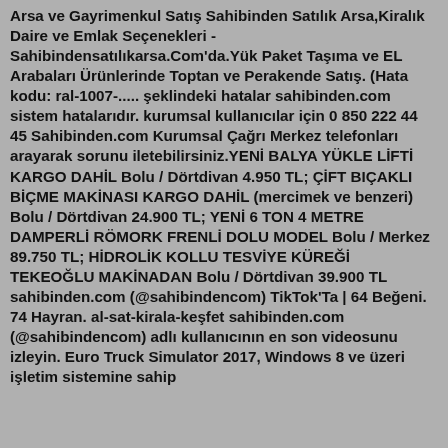Arsa ve Gayrimenkul Satış Sahibinden Satılık Arsa,Kiralık Daire ve Emlak Seçenekleri - Sahibindensatılıkarsa.Com'da.Yük Paket Taşıma ve EL Arabaları Ürünlerinde Toptan ve Perakende Satış. (Hata kodu: ral-1007-..... şeklindeki hatalar sahibinden.com sistem hatalarıdır. kurumsal kullanıcılar için 0 850 222 44 45 Sahibinden.com Kurumsal Çağrı Merkez telefonları arayarak sorunu iletebilirsiniz.YENİ BALYA YÜKLE LİFTİ KARGO DAHİL Bolu / Dörtdivan 4.950 TL; ÇİFT BIÇAKLI BİÇME MAKİNASI KARGO DAHİL (mercimek ve benzeri) Bolu / Dörtdivan 24.900 TL; YENİ 6 TON 4 METRE DAMPERLİ RÖMORK FRENLİ DOLU MODEL Bolu / Merkez 89.750 TL; HİDROLİK KOLLU TESVİYE KÜREĞİ TEKEOĞLU MAKİNADAN Bolu / Dörtdivan 39.900 TL sahibinden.com (@sahibindencom) TikTok'Ta | 64 Beğeni. 74 Hayran. al-sat-kirala-keşfet sahibinden.com (@sahibindencom) adlı kullanıcının en son videosunu izleyin. Euro Truck Simulator 2017, Windows 8 ve üzeri işletim sistemine sahip